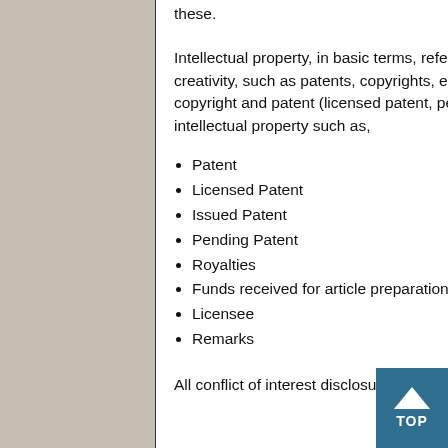these.
Intellectual property, in basic terms, refers to any intangible property that is the result of creativity, such as patents, copyrights, etc. Similarly, this section seeks to know about copyright and patent (licensed patent, pending or issued) and any payment received for intellectual property such as,
Patent
Licensed Patent
Issued Patent
Pending Patent
Royalties
Funds received for article preparation and reviewing
Licensee
Remarks
All conflict of interest disclosure forms are collected by the corresponding author. It is